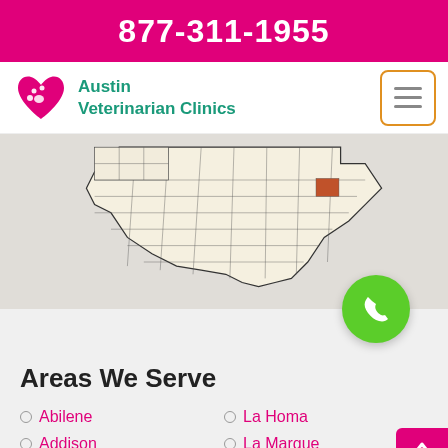877-311-1955
[Figure (logo): Austin Veterinarian Clinics logo with pink heart and paw print, teal text reading 'Austin Veterinarian Clinics']
[Figure (map): Map of Texas counties with one county highlighted in orange/red, shown on a light beige background with county grid lines]
Areas We Serve
Abilene
Addison
Adkins
La Homa
La Marque
La Porte